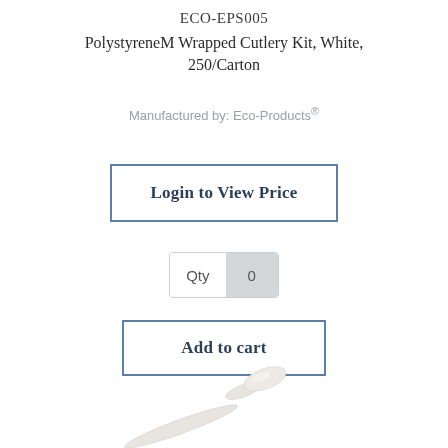ECO-EPS005
PolystyreneM Wrapped Cutlery Kit, White, 250/Carton
Manufactured by: Eco-Products®
Login to View Price
Qty  0
Add to cart
[Figure (photo): A white plastic cutlery spoon/utensil shown diagonally]